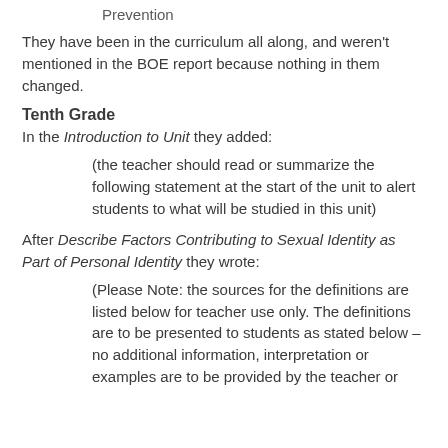Prevention
They have been in the curriculum all along, and weren't mentioned in the BOE report because nothing in them changed.
Tenth Grade
In the Introduction to Unit they added:
(the teacher should read or summarize the following statement at the start of the unit to alert students to what will be studied in this unit)
After Describe Factors Contributing to Sexual Identity as Part of Personal Identity they wrote:
(Please Note: the sources for the definitions are listed below for teacher use only. The definitions are to be presented to students as stated below – no additional information, interpretation or examples are to be provided by the teacher or